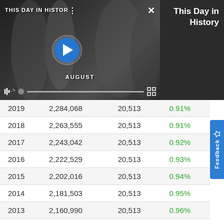[Figure (screenshot): Screenshot of a video player showing 'THIS DAY IN HISTORY' with a play button, mute icon, progress bar, and fullscreen toggle. Month label 'AUGUST' visible. Right side has dark panel with 'This Day in History' title text in white.]
| Year | Population | Change | % Change |
| --- | --- | --- | --- |
| 2019 | 2,284,068 | 20,513 | 0.91% |
| 2018 | 2,263,555 | 20,513 | 0.91% |
| 2017 | 2,243,042 | 20,513 | 0.92% |
| 2016 | 2,222,529 | 20,513 | 0.93% |
| 2015 | 2,202,016 | 20,513 | 0.94% |
| 2014 | 2,181,503 | 20,513 | 0.95% |
| 2013 | 2,160,990 | 20,513 | 0.96% |
| 2012 | 2,140,477 | 20,513 | 0.97% |